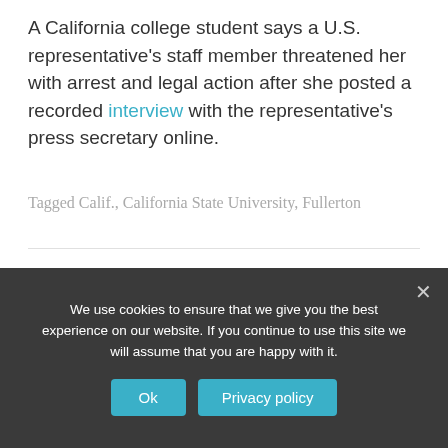A California college student says a U.S. representative's staff member threatened her with arrest and legal action after she posted a recorded interview with the representative's press secretary online.
Tagged Calif., California State University, Fullerton
Judge rules against district's affirmative defenses in high school
We use cookies to ensure that we give you the best experience on our website. If you continue to use this site we will assume that you are happy with it.